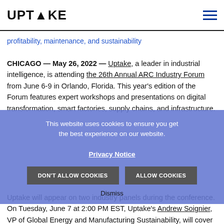UPTAKE [logo] [hamburger menu]
profitability, maintenance, and sustainability
CHICAGO — May 26, 2022 — Uptake, a leader in industrial intelligence, is attending the 26th Annual ARC Industry Forum from June 6-9 in Orlando, Florida. This year's edition of the Forum features expert workshops and presentations on digital transformation, smart factories, supply chains, and infrastructure.
This website uses cookies to ensure you get the best experience on our website. Privacy Notice DON'T ALLOW COOKIES   ALLOW COOKIES Dismiss
Uptake will appear on two industry panels during the conference. On Tuesday, June 7 at 2:00 PM EST, Uptake's Andrew Soignier, VP of Global Energy and Manufacturing Sustainability, will cover Smart Asset